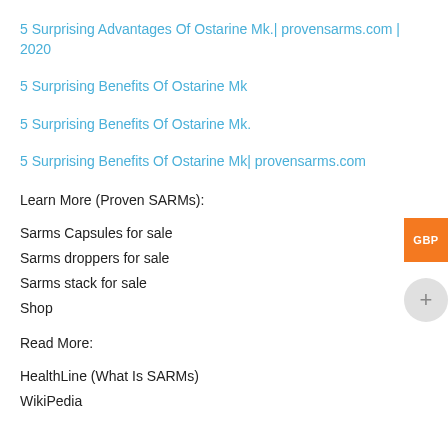5 Surprising Advantages Of Ostarine Mk.| provensarms.com | 2020
5 Surprising Benefits Of Ostarine Mk
5 Surprising Benefits Of Ostarine Mk.
5 Surprising Benefits Of Ostarine Mk| provensarms.com
Learn More (Proven SARMs):
Sarms Capsules for sale
Sarms droppers for sale
Sarms stack for sale
Shop
Read More:
HealthLine (What Is SARMs)
WikiPedia